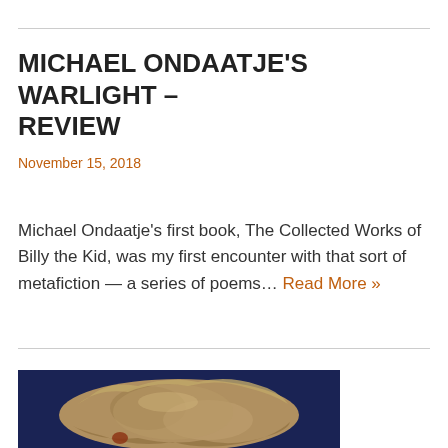MICHAEL ONDAATJE'S WARLIGHT – REVIEW
November 15, 2018
Michael Ondaatje's first book, The Collected Works of Billy the Kid, was my first encounter with that sort of metafiction — a series of poems… Read More »
[Figure (photo): Photograph of a rock or stone artifact against a dark blue background]